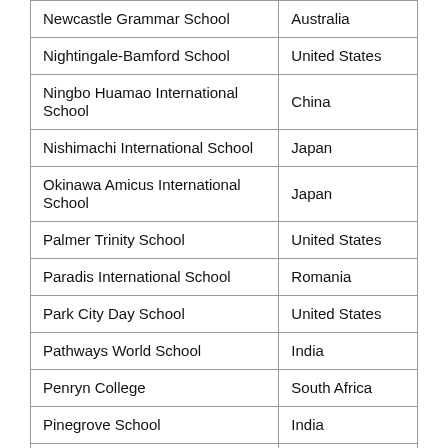| School | Country |
| --- | --- |
| Newcastle Grammar School | Australia |
| Nightingale-Bamford School | United States |
| Ningbo Huamao International School | China |
| Nishimachi International School | Japan |
| Okinawa Amicus International School | Japan |
| Palmer Trinity School | United States |
| Paradis International School | Romania |
| Park City Day School | United States |
| Pathways World School | India |
| Penryn College | South Africa |
| Pinegrove School | India |
| Providence Day School | United States |
| Radford College | Australia |
| Rajkumar College | India |
| Rajmata Krishna Kumari Girls' Public |  |